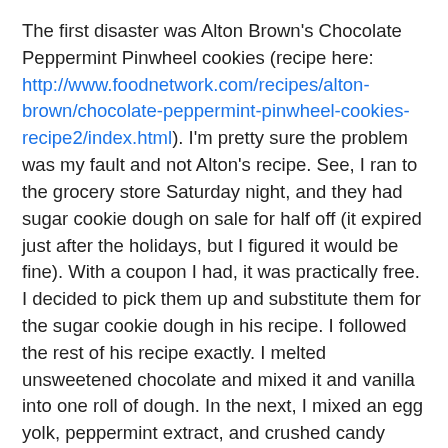The first disaster was Alton Brown's Chocolate Peppermint Pinwheel cookies (recipe here: http://www.foodnetwork.com/recipes/alton-brown/chocolate-peppermint-pinwheel-cookies-recipe2/index.html). I'm pretty sure the problem was my fault and not Alton's recipe. See, I ran to the grocery store Saturday night, and they had sugar cookie dough on sale for half off (it expired just after the holidays, but I figured it would be fine). With a coupon I had, it was practically free. I decided to pick them up and substitute them for the sugar cookie dough in his recipe. I followed the rest of his recipe exactly. I melted unsweetened chocolate and mixed it and vanilla into one roll of dough. In the next, I mixed an egg yolk, peppermint extract, and crushed candy canes. I rolled them out, stacked them on top of each other, and rolled them into a log. It looked beautiful. Then, I put it in the fridge to cool until the next day.
Well, cookie day arrived, and I eagerly sliced into my peppermint pinwheel log. The slices looked lovely and smelled of sweet peppermint. I did notice that the peppermint swirl was gooey, though, but I wasn't too worried. I popped